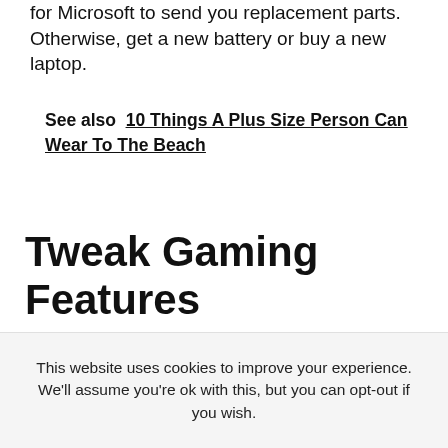for Microsoft to send you replacement parts. Otherwise, get a new battery or buy a new laptop.
See also  10 Things A Plus Size Person Can Wear To The Beach
Tweak Gaming Features
Gaming is known for draining your system resources.Fortunately, Windows offers ways to reduce graphics glitches while increasing
This website uses cookies to improve your experience. We'll assume you're ok with this, but you can opt-out if you wish.